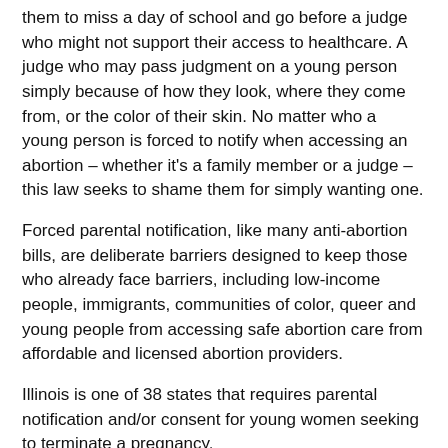them to miss a day of school and go before a judge who might not support their access to healthcare. A judge who may pass judgment on a young person simply because of how they look, where they come from, or the color of their skin. No matter who a young person is forced to notify when accessing an abortion – whether it's a family member or a judge – this law seeks to shame them for simply wanting one.
Forced parental notification, like many anti-abortion bills, are deliberate barriers designed to keep those who already face barriers, including low-income people, immigrants, communities of color, queer and young people from accessing safe abortion care from affordable and licensed abortion providers.
Illinois is one of 38 states that requires parental notification and/or consent for young women seeking to terminate a pregnancy.